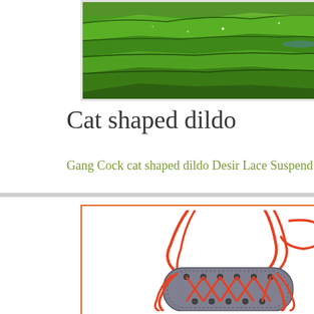[Figure (photo): Aerial landscape photo of green terraced fields/farmland with a body of water visible]
Cat shaped dildo
Gang Cock cat shaped dildo Desir Lace Suspende
[Figure (photo): Gray leather sleep/eye mask with orange/red lace ribbon ties forming cross-lace pattern on white background, with orange border frame]